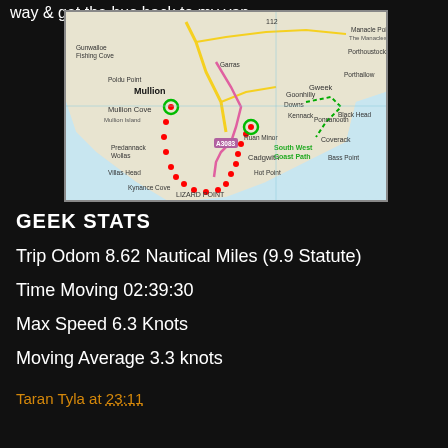way & get the bus back to my van.
[Figure (map): Map of the Lizard Peninsula, Cornwall, showing a route along the coast path from Mullion Cove area down to Lizard Point and around to Cadgwith/Coverack area. Red dotted line shows the walked/paddled route. Green circle markers indicate start/end points. Shows South West Coast Path label, Black Head, Porthoustock, Manacle Point, The Manacles, Porthallow, Coverack, Cadgwith, Hot Point, Lizard Point, Kynance Cove, Predannack Wollas, Villas Head, Bass Point, Ruan Minor, Kennack, Mullion Cove, Mullion Island, Poldu Point, Gunwalloe Fishing Cove, Helston area.]
GEEK STATS
Trip Odom 8.62 Nautical Miles (9.9 Statute)
Time Moving 02:39:30
Max Speed 6.3 Knots
Moving Average 3.3 knots
Taran Tyla at 23:11